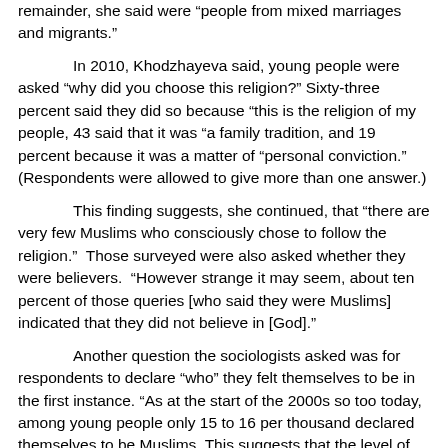remainder, she said were “people from mixed marriages and migrants.”
In 2010, Khodzhayeva said, young people were asked “why did you choose this religion?” Sixty-three percent said they did so because “this is the religion of my people, 43 said that it was “a family tradition, and 19 percent because it was a matter of “personal conviction.” (Respondents were allowed to give more than one answer.)
This finding suggests, she continued, that “there are very few Muslims who consciously chose to follow the religion.”  Those surveyed were also asked whether they were believers.  “However strange it may seem, about ten percent of those queries [who said they were Muslims] indicated that they did not believe in [God].”
Another question the sociologists asked was for respondents to declare “who” they felt themselves to be in the first instance. “As at the start of the 2000s so too today, among young people only 15 to 16 per thousand declared themselves to be Muslims. This suggests that the level of